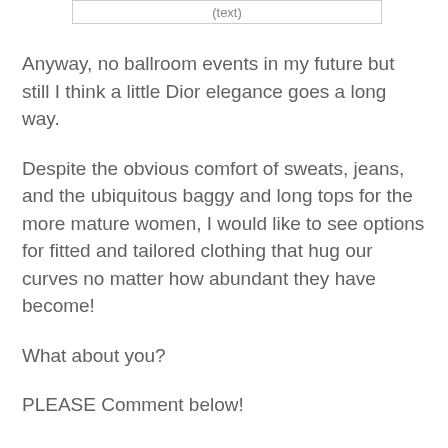[Figure (other): Partial image or box visible at top of page with text partially cut off]
Anyway, no ballroom events in my future but still I think a little Dior elegance goes a long way.
Despite the obvious comfort of sweats, jeans, and the ubiquitous baggy and long tops for the more mature women, I would like to see options for fitted and tailored clothing that hug our curves no matter how abundant they have become!
What about you?
PLEASE Comment below!